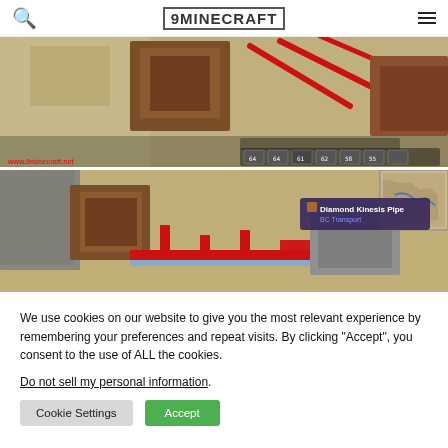9MINECRAFT
[Figure (screenshot): Minecraft screenshot showing a player perspective with a wooden box/chest, red arrows/lines indicating direction, and a HUD with health bar and hotbar showing items with numbers 64, 64, 61, 62, 58, 55. URL www.9minecraft.net visible at bottom left.]
[Figure (screenshot): Minecraft screenshot showing red kinesis pipes on sandy ground, a wooden chest, gray blocks, and a map in the upper right corner. A tooltip reads 'Diamond Kinesis Pipe / BC Transport'.]
We use cookies on our website to give you the most relevant experience by remembering your preferences and repeat visits. By clicking “Accept”, you consent to the use of ALL the cookies.
Do not sell my personal information.